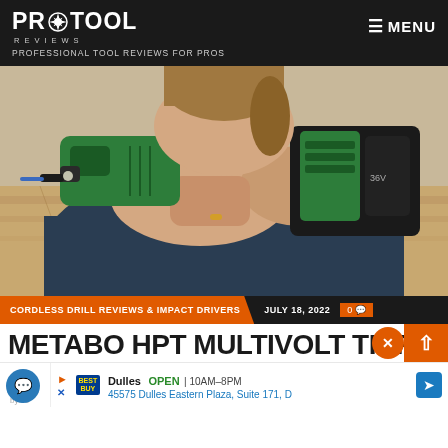PRO TOOL REVIEWS — PROFESSIONAL TOOL REVIEWS FOR PROS | MENU
[Figure (photo): A person using a green and black Metabo HPT cordless drill/impact driver on OSB wood board. The tool has a large battery pack. Close-up shot of hands gripping the tool.]
CORDLESS DRILL REVIEWS & IMPACT DRIVERS | JULY 18, 2022 | 0 comments
METABO HPT MULTIVOLT TRIPLE HAMM...
By Jo...
Dulles  OPEN  10AM–8PM  45575 Dulles Eastern Plaza, Suite 171, D